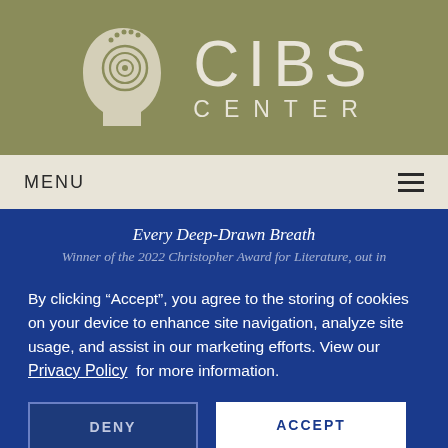[Figure (logo): CIBS Center logo with a stylized human head profile containing concentric spiral/circle lines, white on olive/green background, with text 'CIBS CENTER' in large light letters]
MENU
Every Deep-Drawn Breath
Winner of the 2022 Christopher Award for Literature, out in
By clicking “Accept”, you agree to the storing of cookies on your device to enhance site navigation, analyze site usage, and assist in our marketing efforts. View our Privacy Policy  for more information.
DENY
ACCEPT